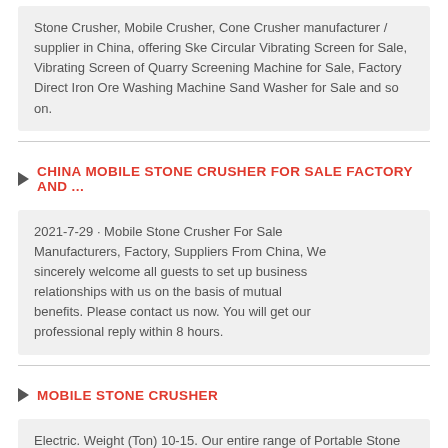Stone Crusher, Mobile Crusher, Cone Crusher manufacturer / supplier in China, offering Ske Circular Vibrating Screen for Sale, Vibrating Screen of Quarry Screening Machine for Sale, Factory Direct Iron Ore Washing Machine Sand Washer for Sale and so on.
CHINA MOBILE STONE CRUSHER FOR SALE FACTORY AND ...
2021-7-29 · Mobile Stone Crusher For Sale Manufacturers, Factory, Suppliers From China, We sincerely welcome all guests to set up business relationships with us on the basis of mutual benefits. Please contact us now. You will get our professional reply within 8 hours.
MOBILE STONE CRUSHER
Electric. Weight (Ton) 10-15. Our entire range of Portable Stone Crusher be it jaw, cone or impact type can be made mobile using a wheel mounted chassis. The mobile crushers include hoppers, feeders, conveying belts and screening ...